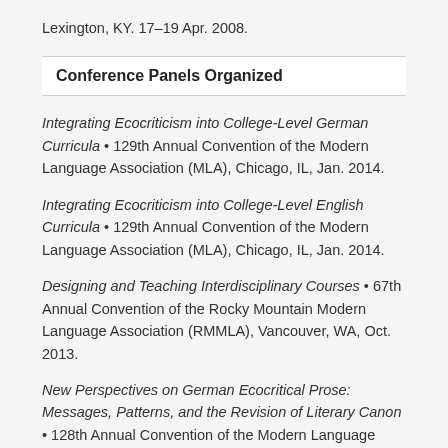Lexington, KY. 17–19 Apr. 2008.
Conference Panels Organized
Integrating Ecocriticism into College-Level German Curricula • 129th Annual Convention of the Modern Language Association (MLA), Chicago, IL, Jan. 2014.
Integrating Ecocriticism into College-Level English Curricula • 129th Annual Convention of the Modern Language Association (MLA), Chicago, IL, Jan. 2014.
Designing and Teaching Interdisciplinary Courses • 67th Annual Convention of the Rocky Mountain Modern Language Association (RMMLA), Vancouver, WA, Oct. 2013.
New Perspectives on German Ecocritical Prose: Messages, Patterns, and the Revision of Literary Canon • 128th Annual Convention of the Modern Language Association (MLA), Boston, MA, Jan. 2012.